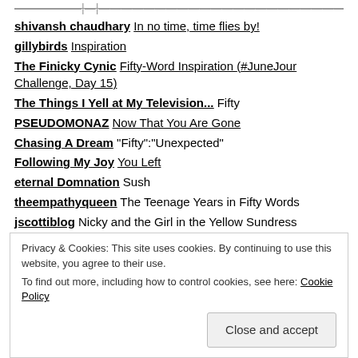shivansh chaudhary In no time, time flies by!
gillybirds Inspiration
The Finicky Cynic Fifty-Word Inspiration (#JuneJour Challenge, Day 15)
The Things I Yell at My Television... Fifty
PSEUDOMONAZ Now That You Are Gone
Chasing A Dream “Fifty”:“Unexpected”
Following My Joy You Left
eternal Domnation Sush
theempathyqueen The Teenage Years in Fifty Words
jscottiblog Nicky and the Girl in the Yellow Sundress
If Crazy Fits Wear It Fifty Word Inspiration –
Privacy & Cookies: This site uses cookies. By continuing to use this website, you agree to their use. To find out more, including how to control cookies, see here: Cookie Policy
Close and accept